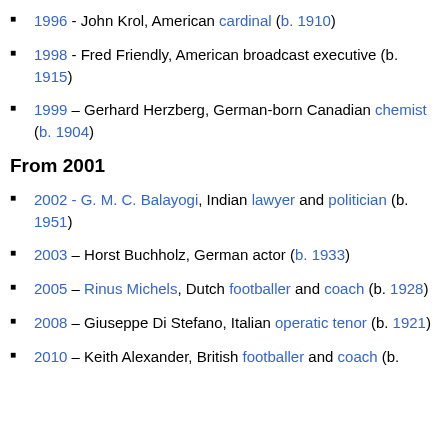1996 - John Krol, American cardinal (b. 1910)
1998 - Fred Friendly, American broadcast executive (b. 1915)
1999 – Gerhard Herzberg, German-born Canadian chemist (b. 1904)
From 2001
2002 - G. M. C. Balayogi, Indian lawyer and politician (b. 1951)
2003 – Horst Buchholz, German actor (b. 1933)
2005 – Rinus Michels, Dutch footballer and coach (b. 1928)
2008 – Giuseppe Di Stefano, Italian operatic tenor (b. 1921)
2010 – Keith Alexander, British footballer and coach (b.